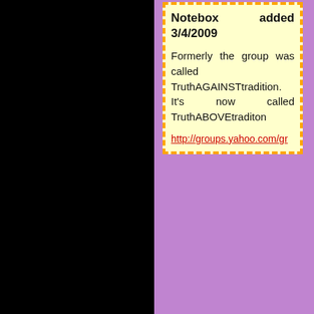[Figure (other): Yellow note box with orange dashed border containing notebox header and text about group name change]
I have included the message numbers here for convenience. The paragraphs that are **** are my comments, as I feel that some things needed to be explained for an easier understanding of the situation. I don't expect